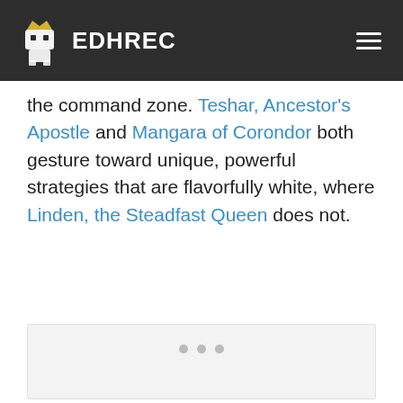EDHREC
the command zone. Teshar, Ancestor's Apostle and Mangara of Corondor both gesture toward unique, powerful strategies that are flavorfully white, where Linden, the Steadfast Queen does not.
[Figure (other): A light gray placeholder image box with three small dots near the bottom center, likely a loading or carousel indicator area for an embedded image or advertisement.]